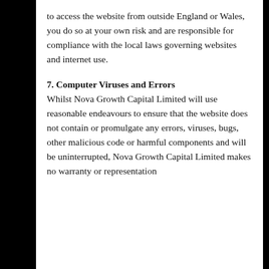to access the website from outside England or Wales, you do so at your own risk and are responsible for compliance with the local laws governing websites and internet use.
7. Computer Viruses and Errors
Whilst Nova Growth Capital Limited will use reasonable endeavours to ensure that the website does not contain or promulgate any errors, viruses, bugs, other malicious code or harmful components and will be uninterrupted, Nova Growth Capital Limited makes no warranty or representation
By clicking Accept, you agree to the storing of cookies on your device to enhance site navigation, analyse site usage and assist in our marketing efforts.